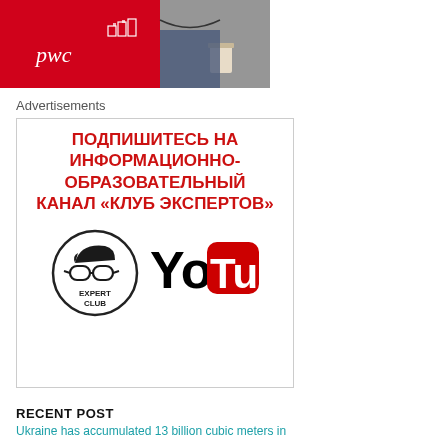[Figure (photo): PwC logo on red background banner with a photo of person with coffee cup]
Advertisements
[Figure (illustration): Advertisement banner: ПОДПИШИТЕСЬ НА ИНФОРМАЦИОННО-ОБРАЗОВАТЕЛЬНЫЙ КАНАЛ «КЛУБ ЭКСПЕРТОВ» with Expert Club logo and YouTube logo]
RECENT POST
Ukraine has accumulated 13 billion cubic meters in